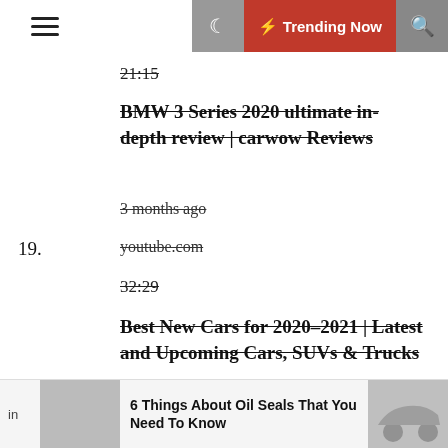☰  🌙  ⚡ Trending Now  🔍
21:15
BMW 3 Series 2020 ultimate in-depth review | carwow Reviews
3 months ago
youtube.com
19.
32:29
Best New Cars for 2020–2021 | Latest and Upcoming Cars, SUVs & Trucks
3 months ago
6 Things About Oil Seals That You Need To Know